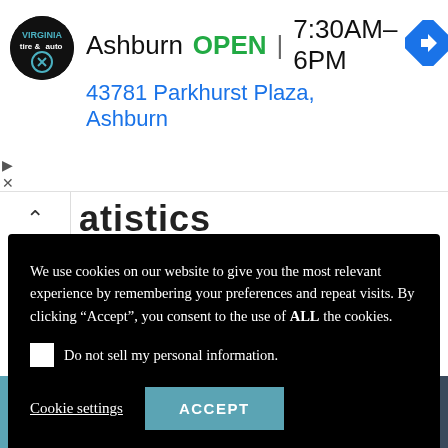[Figure (screenshot): Ad banner showing Virginia Tire & Auto logo, Ashburn location, OPEN status, hours 7:30AM–6PM, address 43781 Parkhurst Plaza Ashburn, and a navigation arrow icon]
atistics
We use cookies on our website to give you the most relevant experience by remembering your preferences and repeat visits. By clicking “Accept”, you consent to the use of ALL the cookies.
Do not sell my personal information.
Cookie settings   ACCEPT
inhabitants
Testing rates per 100 000 inhabitants
| Translate » |  | 14-day cumulative |
| --- | --- | --- |